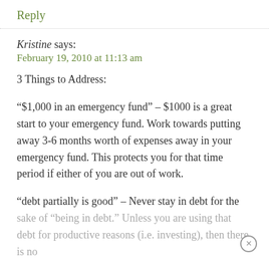Reply
Kristine says:
February 19, 2010 at 11:13 am
3 Things to Address:
“$1,000 in an emergency fund” – $1000 is a great start to your emergency fund. Work towards putting away 3-6 months worth of expenses away in your emergency fund. This protects you for that time period if either of you are out of work.

“debt partially is good” – Never stay in debt for the sake of “being in debt.” Unless you are using that debt for productive reasons (i.e. investing), then there is no